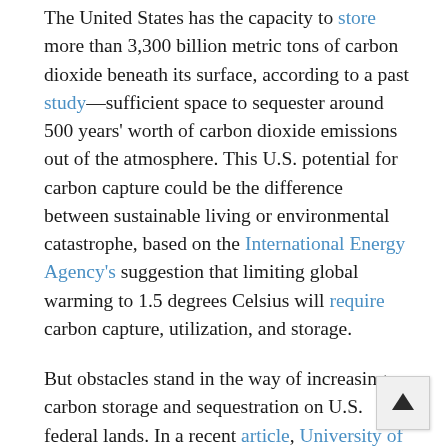The United States has the capacity to store more than 3,300 billion metric tons of carbon dioxide beneath its surface, according to a past study—sufficient space to sequester around 500 years' worth of carbon dioxide emissions out of the atmosphere. This U.S. potential for carbon capture could be the difference between sustainable living or environmental catastrophe, based on the International Energy Agency's suggestion that limiting global warming to 1.5 degrees Celsius will require carbon capture, utilization, and storage.
But obstacles stand in the way of increasing carbon storage and sequestration on U.S. federal lands. In a recent article, University of Wyoming College of Law professor Tara Righetti and three coauthors propose several policy solutions that address these challenges, and may increase the use of U.S. carbon storage capacity.